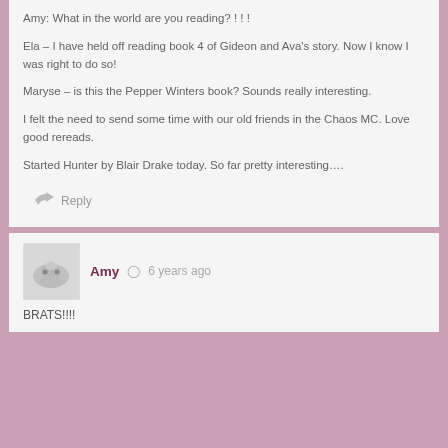Ela – I have held off reading book 4 of Gideon and Ava's story. Now I know I was right to do so!
Maryse – is this the Pepper Winters book? Sounds really interesting.
I felt the need to send some time with our old friends in the Chaos MC. Love good rereads.
Started Hunter by Blair Drake today. So far pretty interesting….
Reply
Amy  6 years ago
BRATS!!!!